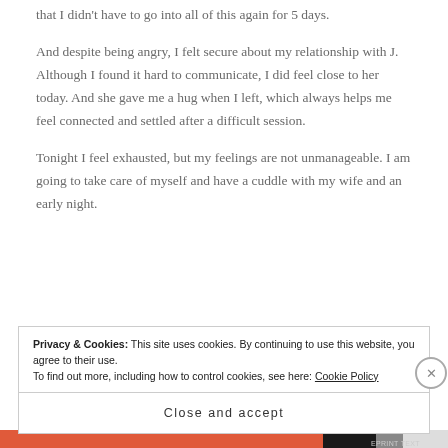that I didn't have to go into all of this again for 5 days.
And despite being angry, I felt secure about my relationship with J. Although I found it hard to communicate, I did feel close to her today. And she gave me a hug when I left, which always helps me feel connected and settled after a difficult session.
Tonight I feel exhausted, but my feelings are not unmanageable. I am going to take care of myself and have a cuddle with my wife and an early night.
Privacy & Cookies: This site uses cookies. By continuing to use this website, you agree to their use. To find out more, including how to control cookies, see here: Cookie Policy
Close and accept
EPRINT TEXT